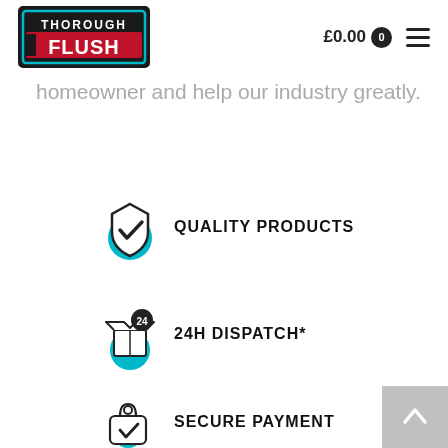[Figure (logo): Thorough Flush logo with red/dark box background and teal border]
£0.00  0
homeowner and help our industry greatly.
[Figure (infographic): Quality Products icon - shield with checkmark on teal circle]
QUALITY PRODUCTS
[Figure (infographic): 24H Dispatch icon - open box with 24 badge on teal circle]
24H DISPATCH*
[Figure (infographic): Secure Payment icon - shopping bag with checkmark on teal circle]
SECURE PAYMENT